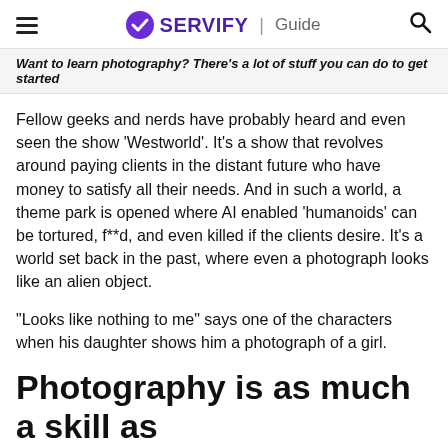SERVIFY | Guide
Want to learn photography? There's a lot of stuff you can do to get started
Fellow geeks and nerds have probably heard and even seen the show 'Westworld'. It's a show that revolves around paying clients in the distant future who have money to satisfy all their needs. And in such a world, a theme park is opened where AI enabled 'humanoids' can be tortured, f**d, and even killed if the clients desire. It's a world set back in the past, where even a photograph looks like an alien object.
“Looks like nothing to me” says one of the characters when his daughter shows him a photograph of a girl.
Photography is as much a skill as